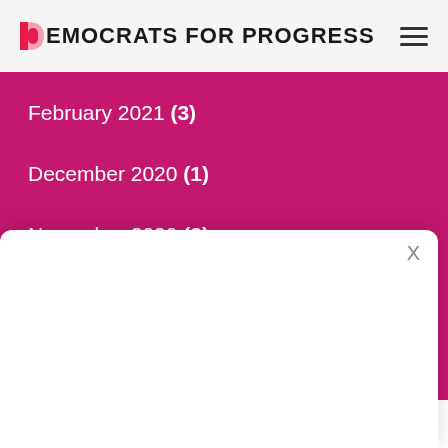Democrats for Progress
February 2021 (3)
December 2020 (1)
November 2020 (3)
September 2020 (1)
August 2020 (2)
July 2020 (2)